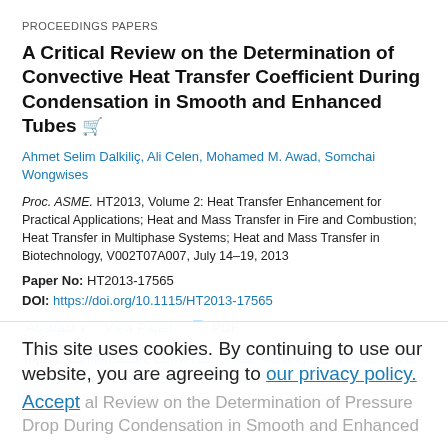PROCEEDINGS PAPERS
A Critical Review on the Determination of Convective Heat Transfer Coefficient During Condensation in Smooth and Enhanced Tubes
Ahmet Selim Dalkiliç, Ali Celen, Mohamed M. Awad, Somchai Wongwises
Proc. ASME. HT2013, Volume 2: Heat Transfer Enhancement for Practical Applications; Heat and Mass Transfer in Fire and Combustion; Heat Transfer in Multiphase Systems; Heat and Mass Transfer in Biotechnology, V002T07A007, July 14–19, 2013
Paper No: HT2013-17565
DOI: https://doi.org/10.1115/HT2013-17565
Abstract  View Paper  PDF
Topics: Condensation, Convection, Heat exchangers, Artificial neural networks, Heat transfer coefficients, Numerical analysis, Computational fluid dynamics, Flow (Dynamics), Refrigerants, Refrigeration
This site uses cookies. By continuing to use our website, you are agreeing to our privacy policy. Accept
A Critical Review on the Determination of Pressure Drop During Condensation in Smooth and Enhanced